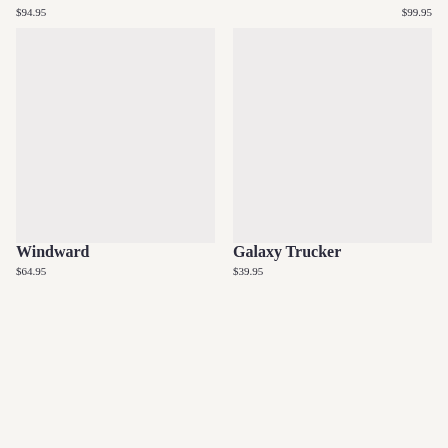$94.95
$99.95
[Figure (other): Product image placeholder for Windward, light gray rectangle]
Windward
$64.95
[Figure (other): Product image placeholder for Galaxy Trucker, light gray rectangle]
Galaxy Trucker
$39.95